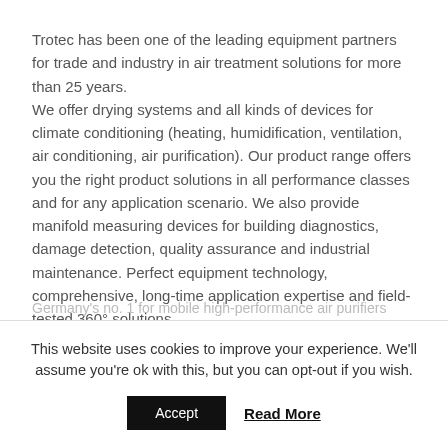Trotec has been one of the leading equipment partners for trade and industry in air treatment solutions for more than 25 years.
We offer drying systems and all kinds of devices for climate conditioning (heating, humidification, ventilation, air conditioning, air purification). Our product range offers you the right product solutions in all performance classes and for any application scenario. We also provide manifold measuring devices for building diagnostics, damage detection, quality assurance and industrial maintenance. Perfect equipment technology, comprehensive, long-time application expertise and field-tested 360° solutions.
Germany's no. 1 for mobile high-performance air purifiers
This website uses cookies to improve your experience. We'll assume you're ok with this, but you can opt-out if you wish.
Accept
Read More